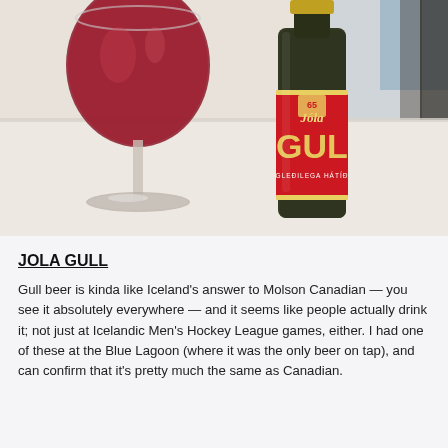[Figure (photo): Photo of a wine glass filled with dark red beer on the left, and a bottle of Jóla Gull Icelandic beer with a red label on the right, both sitting on a white surface.]
JOLA GULL
Gull beer is kinda like Iceland's answer to Molson Canadian — you see it absolutely everywhere — and it seems like people actually drink it; not just at Icelandic Men's Hockey League games, either. I had one of these at the Blue Lagoon (where it was the only beer on tap), and can confirm that it's pretty much the same as Canadian.